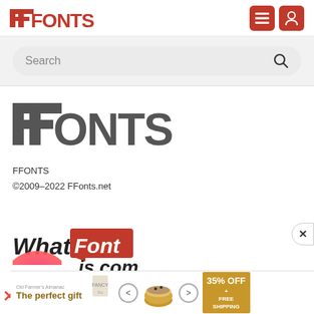FFONTS (logo) — navigation header with menu and user icons
Search
[Figure (logo): Large FFONTS logo in dark gray bold sans-serif]
FFONTS
©2009–2022 FFonts.net
[Figure (logo): WhatFontIs.com logo with red background on 'Font' word]
[Figure (photo): Partial view of a pink/red circular element at bottom left]
[Figure (infographic): Advertisement banner: The perfect gift — food image with navigation arrows — 35% OFF + FREE SHIPPING gold box]